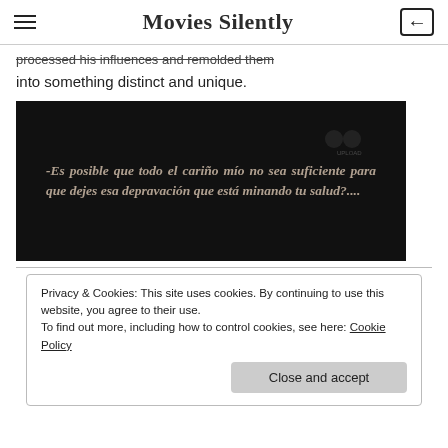Movies Silently
processed his influences and remolded them into something distinct and unique.
[Figure (photo): Dark film still with Spanish intertitle text: '-Es posible que todo el cariño mío no sea suficiente para que dejes esa depravación que está minando tu salud?....']
Privacy & Cookies: This site uses cookies. By continuing to use this website, you agree to their use.
To find out more, including how to control cookies, see here: Cookie Policy